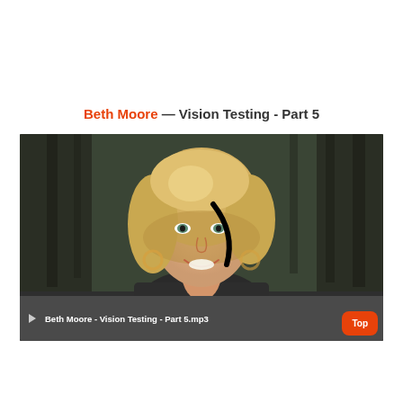Beth Moore — Vision Testing - Part 5
[Figure (screenshot): Video player showing a blonde woman smiling, with a black curved line/shape overlaid near her eye area. Player controls show 0:00 timestamp at bottom. Below is an audio player bar showing 'Beth Moore - Vision Testing - Part 5.mp3'. A red 'Top' button appears in the bottom-right corner.]